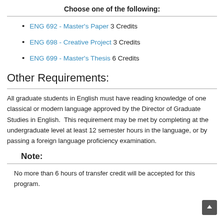Choose one of the following:
ENG 692 - Master's Paper 3 Credits
ENG 698 - Creative Project 3 Credits
ENG 699 - Master's Thesis 6 Credits
Other Requirements:
All graduate students in English must have reading knowledge of one classical or modern language approved by the Director of Graduate Studies in English.  This requirement may be met by completing at the undergraduate level at least 12 semester hours in the language, or by passing a foreign language proficiency examination.
Note:
No more than 6 hours of transfer credit will be accepted for this program.